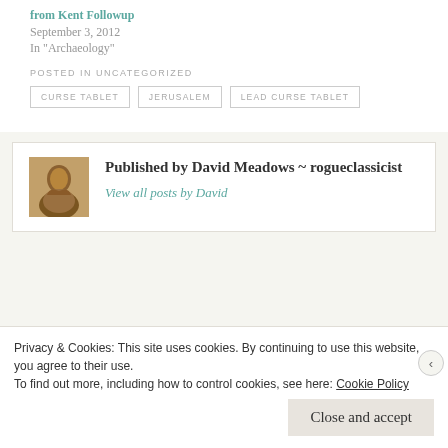from Kent Followup
September 3, 2012
In "Archaeology"
POSTED IN UNCATEGORIZED
CURSE TABLET
JERUSALEM
LEAD CURSE TABLET
Published by David Meadows ~ rogueclassicist
View all posts by David
Privacy & Cookies: This site uses cookies. By continuing to use this website, you agree to their use. To find out more, including how to control cookies, see here: Cookie Policy
Close and accept